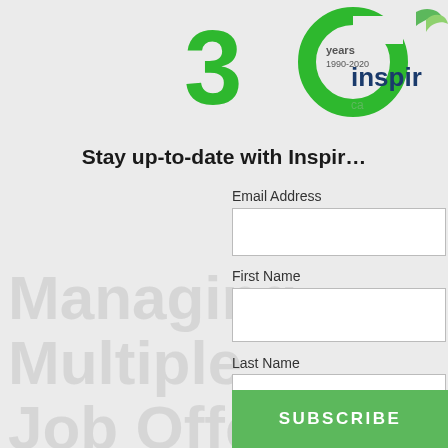[Figure (logo): Inspire Careers 30 years anniversary logo (1990-2020) with green '30' numeral, 'years' text, and 'inspire' brand name with a leaf icon]
Stay up-to-date with Inspir…
Email Address
First Name
Last Name
SUBSCRIBE